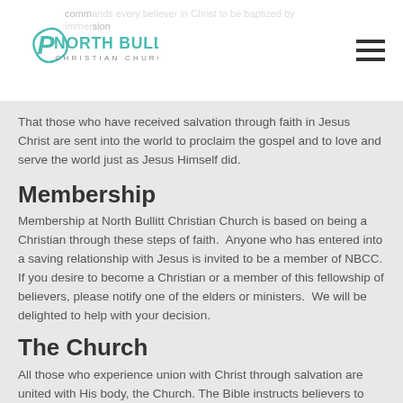North Bullitt Christian Church logo and navigation
commands every believer in Christ to be baptized by immersion
That those who have received salvation through faith in Jesus Christ are sent into the world to proclaim the gospel and to love and serve the world just as Jesus Himself did.
Membership
Membership at North Bullitt Christian Church is based on being a Christian through these steps of faith.  Anyone who has entered into a saving relationship with Jesus is invited to be a member of NBCC. If you desire to become a Christian or a member of this fellowship of believers, please notify one of the elders or ministers.  We will be delighted to help with your decision.
The Church
All those who experience union with Christ through salvation are united with His body, the Church. The Bible instructs believers to gather together in devotion to